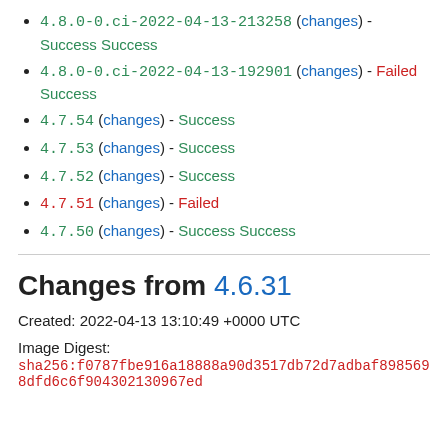4.8.0-0.ci-2022-04-13-213258 (changes) - Success Success
4.8.0-0.ci-2022-04-13-192901 (changes) - Failed Success
4.7.54 (changes) - Success
4.7.53 (changes) - Success
4.7.52 (changes) - Success
4.7.51 (changes) - Failed
4.7.50 (changes) - Success Success
Changes from 4.6.31
Created: 2022-04-13 13:10:49 +0000 UTC
Image Digest:
sha256:f0787fbe916a18888a90d3517db72d7adbaf8985698dfd6c6f904302130967ed